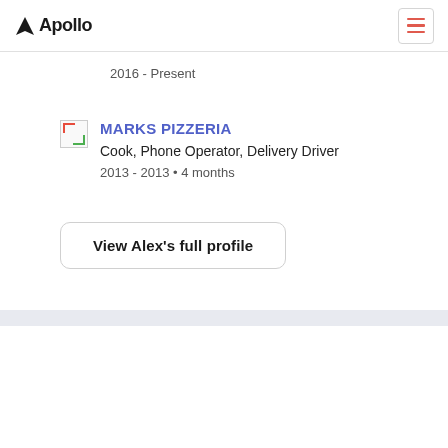Apollo
2016 - Present
MARKS PIZZERIA
Cook, Phone Operator, Delivery Driver
2013 - 2013 • 4 months
View Alex's full profile
Others Named Alex Young
Alex Young
Coordinating Designer Motion Graphics at ESPN